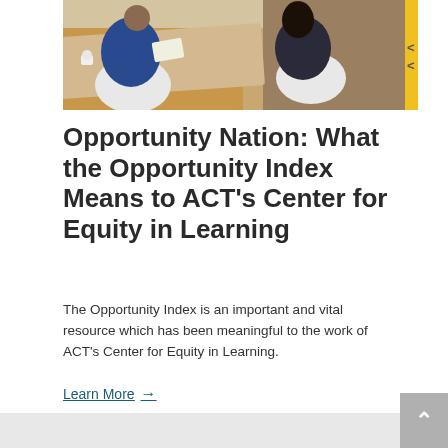[Figure (photo): Overhead/bird's-eye view photograph of people sitting around a table, appearing to review documents. One person wears a blue shirt. Chairs are white/light colored. There is a yellow accent stripe on the right edge.]
Opportunity Nation: What the Opportunity Index Means to ACT’s Center for Equity in Learning
The Opportunity Index is an important and vital resource which has been meaningful to the work of ACT’s Center for Equity in Learning.
Learn More →